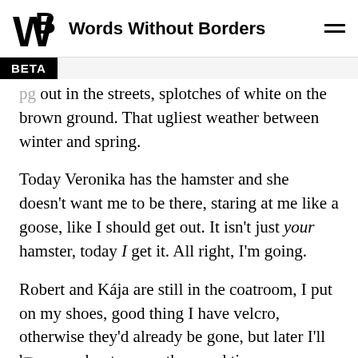Words Without Borders
out in the streets, splotches of white on the brown ground. That ugliest weather between winter and spring.
Today Veronika has the hamster and she doesn't want me to be there, staring at me like a goose, like I should get out. It isn't just your hamster, today I get it. All right, I'm going.
Robert and Kája are still in the coatroom, I put on my shoes, good thing I have velcro, otherwise they'd already be gone, but later I'll be sorry about a thousand times over.
We go out to the street and Kája keepsaint...